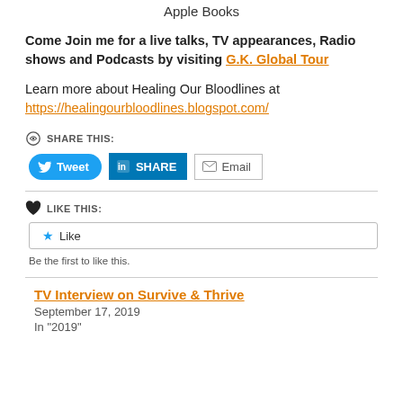Apple Books
Come Join me for a live talks, TV appearances, Radio shows and Podcasts by visiting G.K. Global Tour
Learn more about Healing Our Bloodlines at https://healingourbloodlines.blogspot.com/
SHARE THIS: Tweet | SHARE | Email
LIKE THIS: Like
Be the first to like this.
TV Interview on Survive & Thrive
September 17, 2019
In "2019"